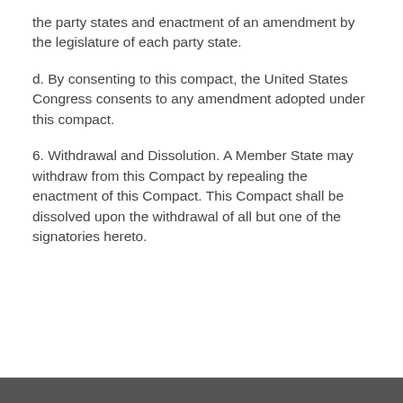the party states and enactment of an amendment by the legislature of each party state.
d. By consenting to this compact, the United States Congress consents to any amendment adopted under this compact.
6. Withdrawal and Dissolution. A Member State may withdraw from this Compact by repealing the enactment of this Compact. This Compact shall be dissolved upon the withdrawal of all but one of the signatories hereto.